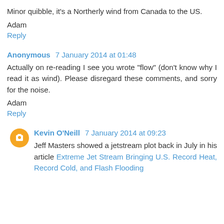Minor quibble, it's a Northerly wind from Canada to the US.
Adam
Reply
Anonymous 7 January 2014 at 01:48
Actually on re-reading I see you wrote "flow" (don't know why I read it as wind). Please disregard these comments, and sorry for the noise.
Adam
Reply
Kevin O'Neill 7 January 2014 at 09:23
Jeff Masters showed a jetstream plot back in July in his article Extreme Jet Stream Bringing U.S. Record Heat, Record Cold, and Flash Flooding